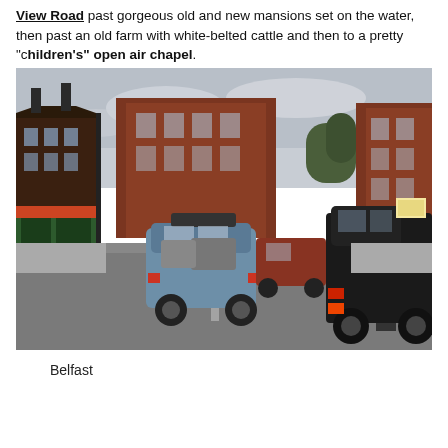View Road past gorgeous old and new mansions set on the water, then past an old farm with white-belted cattle and then to a pretty "children's" open air chapel.
[Figure (photo): Street scene in Belfast, Maine showing a main street with red brick buildings on both sides, vehicles including a blue minivan with roof cargo box and a dark pickup truck in the foreground, and traffic further down the street. Overcast sky with trees visible.]
Belfast